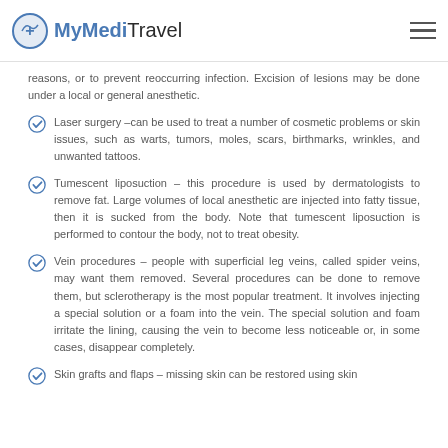MyMediTravel
reasons, or to prevent reoccurring infection. Excision of lesions may be done under a local or general anesthetic.
Laser surgery –can be used to treat a number of cosmetic problems or skin issues, such as warts, tumors, moles, scars, birthmarks, wrinkles, and unwanted tattoos.
Tumescent liposuction – this procedure is used by dermatologists to remove fat. Large volumes of local anesthetic are injected into fatty tissue, then it is sucked from the body. Note that tumescent liposuction is performed to contour the body, not to treat obesity.
Vein procedures – people with superficial leg veins, called spider veins, may want them removed. Several procedures can be done to remove them, but sclerotherapy is the most popular treatment. It involves injecting a special solution or a foam into the vein. The special solution and foam irritate the lining, causing the vein to become less noticeable or, in some cases, disappear completely.
Skin grafts and flaps – missing skin can be restored using skin